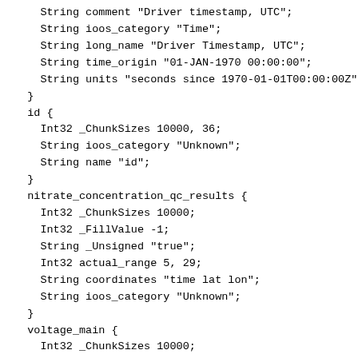String comment "Driver timestamp, UTC";
    String ioos_category "Time";
    String long_name "Driver Timestamp, UTC";
    String time_origin "01-JAN-1970 00:00:00";
    String units "seconds since 1970-01-01T00:00:00Z";
  }
  id {
    Int32 _ChunkSizes 10000, 36;
    String ioos_category "Unknown";
    String name "id";
  }
  nitrate_concentration_qc_results {
    Int32 _ChunkSizes 10000;
    Int32 _FillValue -1;
    String _Unsigned "true";
    Int32 actual_range 5, 29;
    String coordinates "time lat lon";
    String ioos_category "Unknown";
  }
  voltage_main {
    Int32 _ChunkSizes 10000;
    Float32 _FillValue -9999999.0;
    Float32 actual_range 11.3, 11.8;
    String comment "Main Voltage";
    String coordinates "time lat lon";